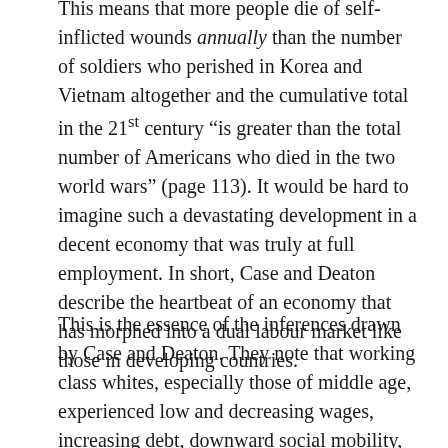This means that more people die of self-inflicted wounds annually than the number of soldiers who perished in Korea and Vietnam altogether and the cumulative total in the 21st century "is greater than the total number of Americans who died in the two world wars" (page 113). It would be hard to imagine such a devastating development in a decent economy that was truly at full employment. In short, Case and Deaton describe the heartbeat of an economy that has morphed into a dual labour market like those in developing countries.
This is the essence of the inferences drawn by Case and Deaton. They note that working class whites, especially those of middle age, experienced low and decreasing wages, increasing debt, downward social mobility, declining relative incomes, and the hopelessness accompanying these phenomena while the top 1% of the income distribution was experiencing a boom reminiscent